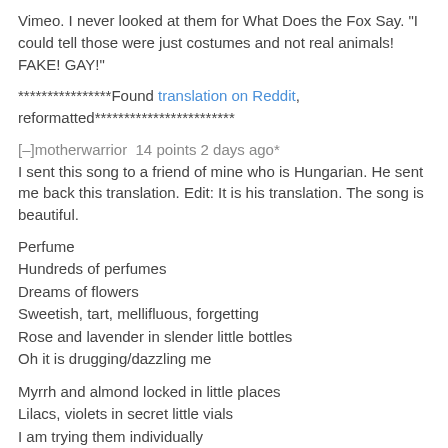Vimeo. I never looked at them for What Does the Fox Say. "I could tell those were just costumes and not real animals! FAKE! GAY!"
****************Found translation on Reddit, reformatted************************
[–]motherwarrior  14 points 2 days ago*
I sent this song to a friend of mine who is Hungarian. He sent me back this translation. Edit: It is his translation. The song is beautiful.
Perfume
Hundreds of perfumes
Dreams of flowers
Sweetish, tart, mellifluous, forgetting
Rose and lavender in slender little bottles
Oh it is drugging/dazzling me
Myrrh and almond locked in little places
Lilacs, violets in secret little vials
I am trying them individually